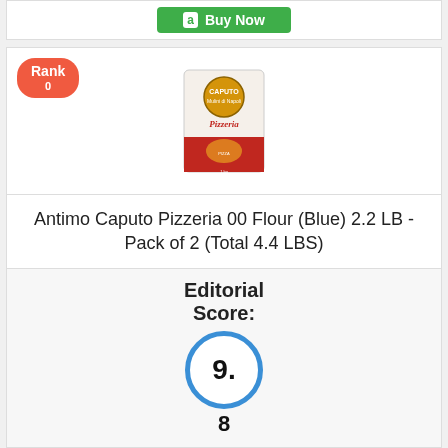[Figure (other): Amazon Buy Now button (green) at top of page]
[Figure (photo): Product image of Antimo Caputo Pizzeria 00 Flour bag with red and white packaging, with a Rank badge (red pill) in top left corner]
Antimo Caputo Pizzeria 00 Flour (Blue) 2.2 LB - Pack of 2 (Total 4.4 LBS)
Editorial Score: 9.8
[Figure (other): Amazon Buy Now button (green) at bottom of card]